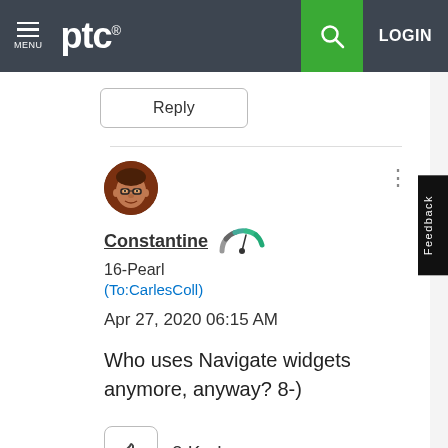[Figure (screenshot): PTC website header with hamburger menu icon, PTC logo, green search button, and LOGIN text on dark gray background]
Reply
Constantine
16-Pearl
(To:CarlesColl)
Apr 27, 2020 06:15 AM
Who uses Navigate widgets anymore, anyway? 8-)
0 Kudos